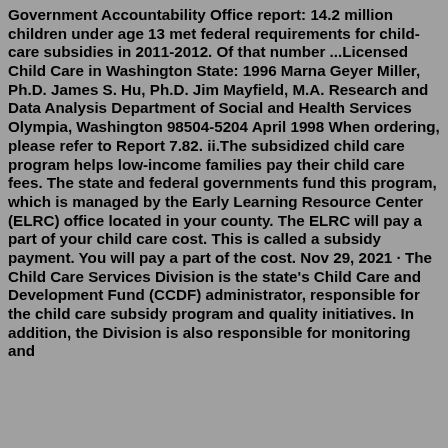Government Accountability Office report: 14.2 million children under age 13 met federal requirements for child-care subsidies in 2011-2012. Of that number ...Licensed Child Care in Washington State: 1996 Marna Geyer Miller, Ph.D. James S. Hu, Ph.D. Jim Mayfield, M.A. Research and Data Analysis Department of Social and Health Services Olympia, Washington 98504-5204 April 1998 When ordering, please refer to Report 7.82. ii.The subsidized child care program helps low-income families pay their child care fees. The state and federal governments fund this program, which is managed by the Early Learning Resource Center (ELRC) office located in your county. The ELRC will pay a part of your child care cost. This is called a subsidy payment. You will pay a part of the cost. Nov 29, 2021 · The Child Care Services Division is the state's Child Care and Development Fund (CCDF) administrator, responsible for the child care subsidy program and quality initiatives. In addition, the Division is also responsible for monitoring and